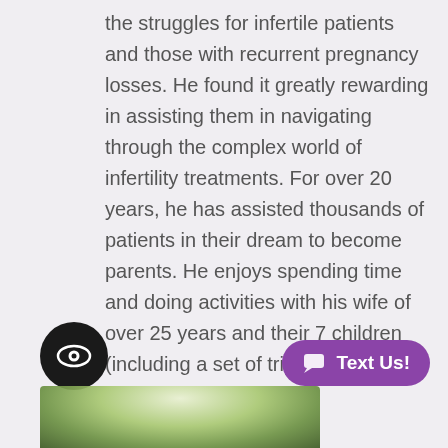the struggles for infertile patients and those with recurrent pregnancy losses. He found it greatly rewarding in assisting them in navigating through the complex world of infertility treatments. For over 20 years, he has assisted thousands of patients in their dream to become parents. He enjoys spending time and doing activities with his wife of over 25 years and their 7 children (including a set of triplets).
[Figure (photo): Partial photo visible at bottom of page, appears to show a person outdoors with greenery background]